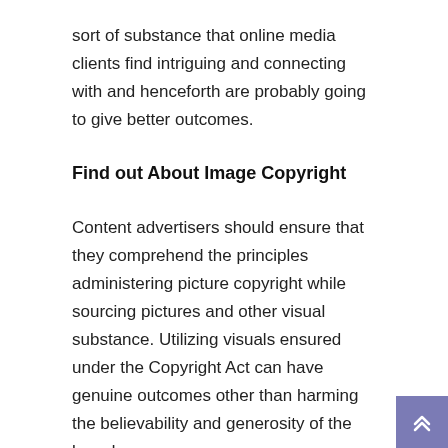sort of substance that online media clients find intriguing and connecting with and henceforth are probably going to give better outcomes.
Find out About Image Copyright
Content advertisers should ensure that they comprehend the principles administering picture copyright while sourcing pictures and other visual substance. Utilizing visuals ensured under the Copyright Act can have genuine outcomes other than harming the believability and generosity of the brand.
Utilize The Right Specifications
Posting improperly measured visual substance can lessen the general crowd commitment levels